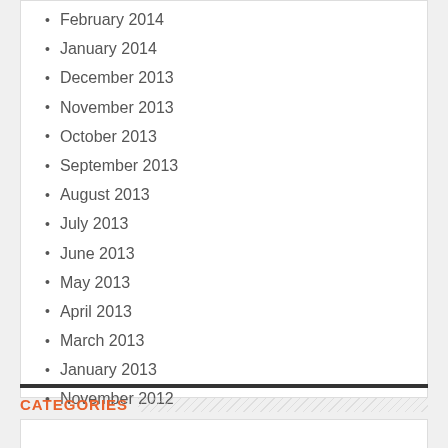February 2014
January 2014
December 2013
November 2013
October 2013
September 2013
August 2013
July 2013
June 2013
May 2013
April 2013
March 2013
January 2013
November 2012
September 2012
November 2011
CATEGORIES